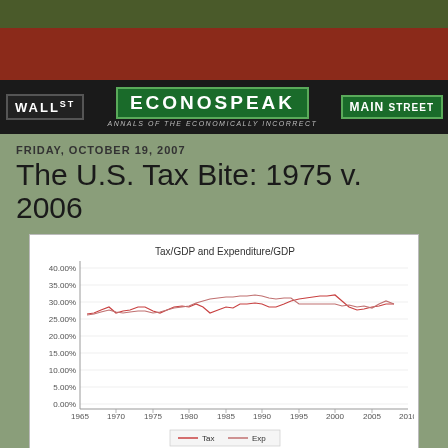ECONOSPEAK — ANNALS OF THE ECONOMICALLY INCORRECT
FRIDAY, OCTOBER 19, 2007
The U.S. Tax Bite: 1975 v. 2006
[Figure (line-chart): Tax/GDP and Expenditure/GDP]